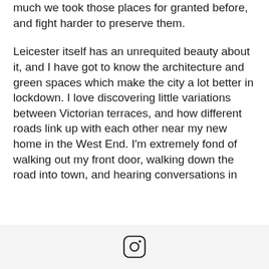much we took those places for granted before, and fight harder to preserve them.

Leicester itself has an unrequited beauty about it, and I have got to know the architecture and green spaces which make the city a lot better in lockdown. I love discovering little variations between Victorian terraces, and how different roads link up with each other near my new home in the West End. I'm extremely fond of walking out my front door, walking down the road into town, and hearing conversations in
[Figure (logo): Instagram logo icon in a rounded square outline]